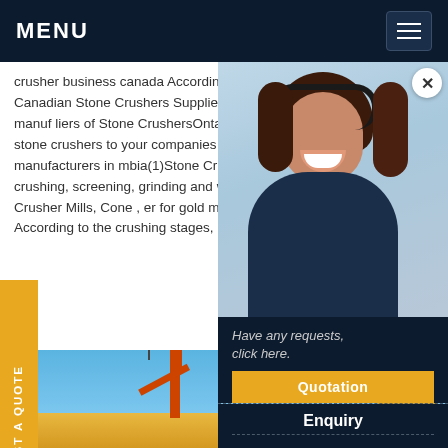MENU
crusher business canada According to the answers, the stone crusher business is dominated strongly by Min- erals Read More Canadian Stone Crushers Suppliers, Find Stone Crushers Suppliers Get fr Request quotations and connect with Canadian manuf liers of Stone CrushersOntario Stone Crusher Manu liers IQS,Find stone crusher companies that can de manufacture stone crushers to your companies sp ct the stone crusher companies through our quick est for quote form. Stone Crusher manufacturers in mbia(1)Stone Crusher In Canada Crusher Mills, Co er for sale in Canada chinagrindingmill.net. Stone da. Gulin crushing, screening, grinding and washi t role in aggregate production, ore processing, indu e Crusher Industry In Canada Crusher Mills, Cone , er for gold mineral processing system Canada cr er used in Canada mining industry for stone crus essing. According to the crushing stages,
[Figure (photo): Customer service representative with headset smiling]
Have any requests, click here.
Quotation
Enquiry
drobilkalm@gmail.com
REQUEST A QUOTE
[Figure (photo): Industrial construction site with crane against blue sky]